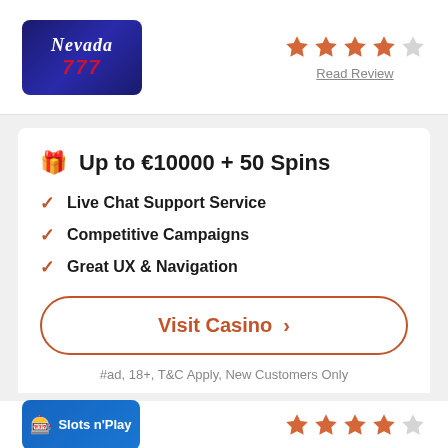[Figure (logo): Nevada 777 casino logo — dark blue/purple background with 'Nevada' in white italic script and '777' in red below]
[Figure (other): Star rating: 4 filled orange stars and 1 half/empty star]
Read Review
Up to €10000 + 50 Spins
Live Chat Support Service
Competitive Campaigns
Great UX & Navigation
Visit Casino  >
#ad, 18+, T&C Apply, New Customers Only
General Terms & Conditions apply. 18+.
[Figure (logo): Slots n'Play casino logo — blue background with slot machine icon and white text]
[Figure (other): Star rating: 4 filled orange stars and 1 empty star]